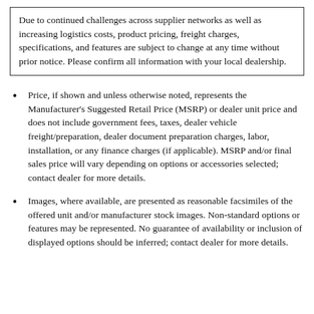Due to continued challenges across supplier networks as well as increasing logistics costs, product pricing, freight charges, specifications, and features are subject to change at any time without prior notice. Please confirm all information with your local dealership.
Price, if shown and unless otherwise noted, represents the Manufacturer's Suggested Retail Price (MSRP) or dealer unit price and does not include government fees, taxes, dealer vehicle freight/preparation, dealer document preparation charges, labor, installation, or any finance charges (if applicable). MSRP and/or final sales price will vary depending on options or accessories selected; contact dealer for more details.
Images, where available, are presented as reasonable facsimiles of the offered unit and/or manufacturer stock images. Non-standard options or features may be represented. No guarantee of availability or inclusion of displayed options should be inferred; contact dealer for more details.